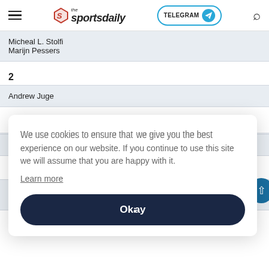the sportsdaily — TELEGRAM — [search]
Micheal L. Stolfi
Marijn Pessers
2
Andrew Juge
1,5
E
1
J
M
We use cookies to ensure that we give you the best experience on our website. If you continue to use this site we will assume that you are happy with it.
Learn more
Okay